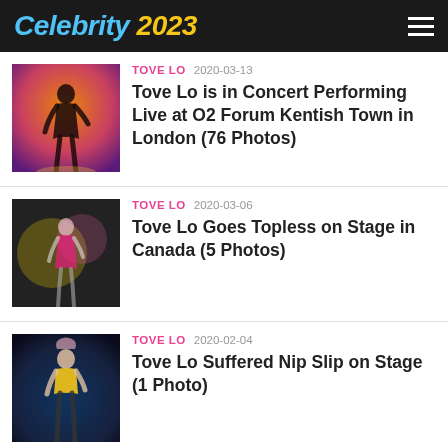Celebrity 2023
[Figure (photo): Concert performer silhouette on stage with orange lighting]
TOVE LO  2020-03-13
Tove Lo is in Concert Performing Live at O2 Forum Kentish Town in London (76 Photos)
[Figure (photo): Concert performance photo with pink/gold lighting]
TOVE LO  2020-03-06
Tove Lo Goes Topless on Stage in Canada (5 Photos)
[Figure (photo): Performer in yellow top on dark stage]
TOVE LO  2020-02-04
Tove Lo Suffered Nip Slip on Stage (1 Photo)